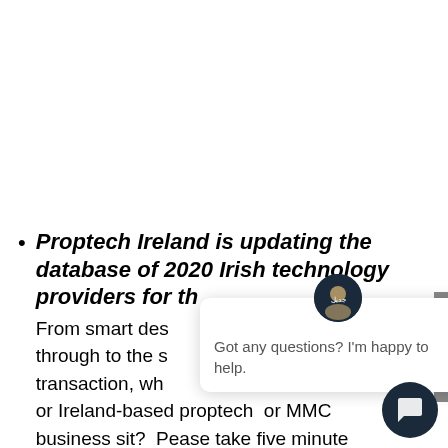Proptech Ireland is updating the database of 2020 Irish technology providers for th
From smart des… through to the s… transaction, wh… or Ireland-based proptech  or MMC business sit?  Pease take five minute… add or update your details to our internationally shared listing here: SIGN